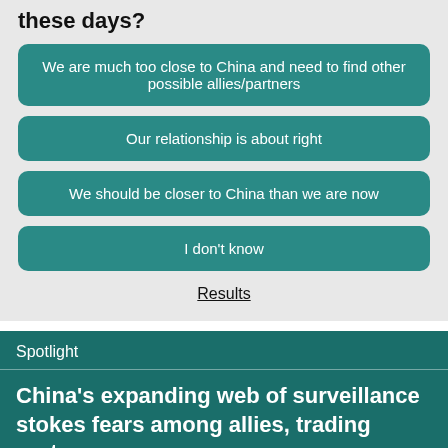these days?
We are much too close to China and need to find other possible allies/partners
Our relationship is about right
We should be closer to China than we are now
I don't know
Results
Spotlight
China's expanding web of surveillance stokes fears among allies, trading partners